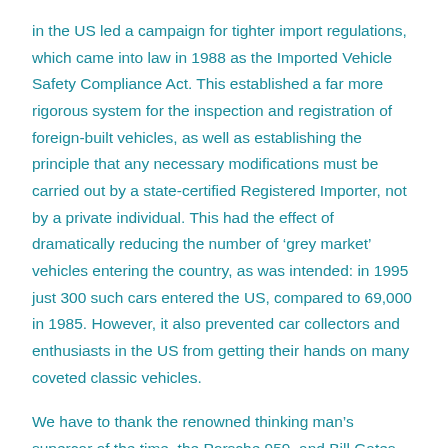in the US led a campaign for tighter import regulations, which came into law in 1988 as the Imported Vehicle Safety Compliance Act. This established a far more rigorous system for the inspection and registration of foreign-built vehicles, as well as establishing the principle that any necessary modifications must be carried out by a state-certified Registered Importer, not by a private individual. This had the effect of dramatically reducing the number of 'grey market' vehicles entering the country, as was intended: in 1995 just 300 such cars entered the US, compared to 69,000 in 1985. However, it also prevented car collectors and enthusiasts in the US from getting their hands on many coveted classic vehicles.
We have to thank the renowned thinking man's supercar of the time, the Porsche 959, and Bill Gates who surprisingly happened to be a car collector and enthusiast who set to challenge the stiff legislation. Since the Porsche 959 was not for sale in the US it was not US compliant, with only 300 models of the coveted model being built. He bought one in Germany in 1988, to only find it